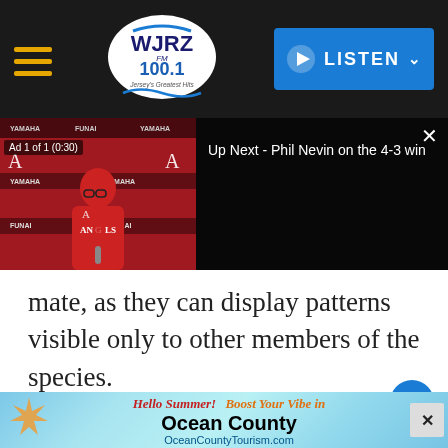WJRZ FM 100.1 — Navigation bar with hamburger menu and LISTEN button
[Figure (screenshot): Video player showing an Angels baseball press conference. Ad label reads 'Ad 1 of 1 (0:30)'. Right side shows black panel with 'Up Next - Phil Nevin on the 4-3 win' and a close X button.]
mate, as they can display patterns visible only to other members of the species.
How Did Humans Evolve?
[Figure (photo): Partial image of what appears to be a pink/purple sky or landscape at the bottom of the page]
[Figure (infographic): Advertisement banner: 'Hello Summer! Boost Your Vibe in Ocean County OceanCountyTourism.com' with starfish decoration and ocean-themed background. Has a close X button.]